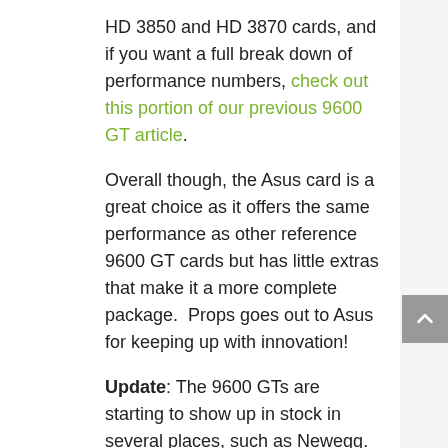HD 3850 and HD 3870 cards, and if you want a full break down of performance numbers, check out this portion of our previous 9600 GT article.
Overall though, the Asus card is a great choice as it offers the same performance as other reference 9600 GT cards but has little extras that make it a more complete package.  Props goes out to Asus for keeping up with innovation!
Update: The 9600 GTs are starting to show up in stock in several places, such as Newegg.
Asus 9600 GT (650/900) – $179